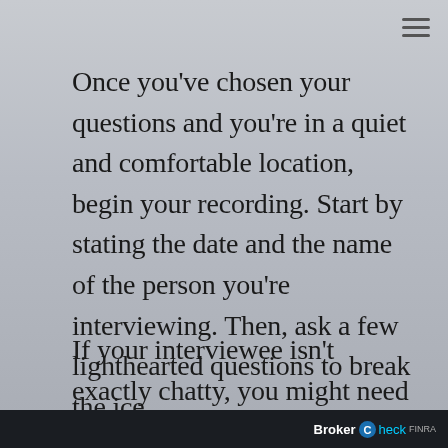Once you've chosen your questions and you're in a quiet and comfortable location, begin your recording. Start by stating the date and the name of the person you're interviewing. Then, ask a few lighthearted questions to break the ice.
If your interviewee isn't exactly chatty, you might need some cues to get the conversation going. You can break out old family photo albums that might spark memories. Or make it a game: you can buy
BrokerCheck